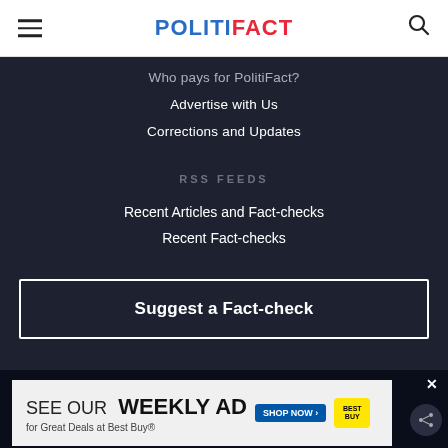POLITIFACT
Who pays for PolitiFact?
Advertise with Us
Corrections and Updates
RSS FEEDS
Recent Articles and Fact-checks
Recent Fact-checks
Suggest a Fact-check
[Figure (screenshot): Best Buy weekly ad advertisement banner at bottom of page]